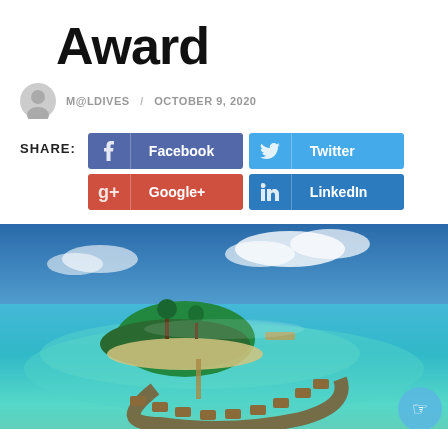Award
M@LDIVES / OCTOBER 9, 2020
SHARE: Facebook Twitter Google+ LinkedIn
[Figure (photo): Aerial photograph of a tropical island resort in the Maldives, showing a lush green island surrounded by turquoise lagoon water with overwater bungalows arranged in a curved arc formation in the foreground.]